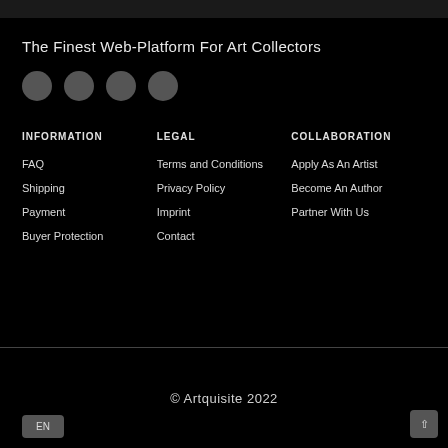The Finest Web-Platform For Art Collectors
[Figure (other): Four dark circular social media icons]
INFORMATION
LEGAL
COLLABORATION
FAQ
Shipping
Payment
Buyer Protection
Terms and Conditions
Privacy Policy
Imprint
Contact
Apply As An Artist
Become An Author
Partner With Us
© Artquisite 2022